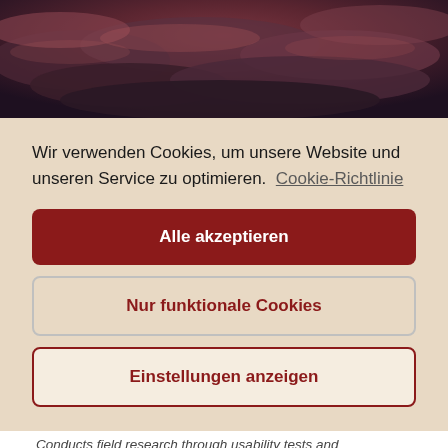[Figure (photo): Dark dramatic sky with reddish-purple clouds, aerial view]
Wir verwenden Cookies, um unsere Website und unseren Service zu optimieren. Cookie-Richtlinie
Alle akzeptieren
Nur funktionale Cookies
Einstellungen anzeigen
Conducts field research through usability tests and